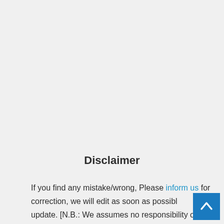Disclaimer
If you find any mistake/wrong, Please inform us for correction, we will edit as soon as possible for update. [N.B.: We assumes no responsibility or...